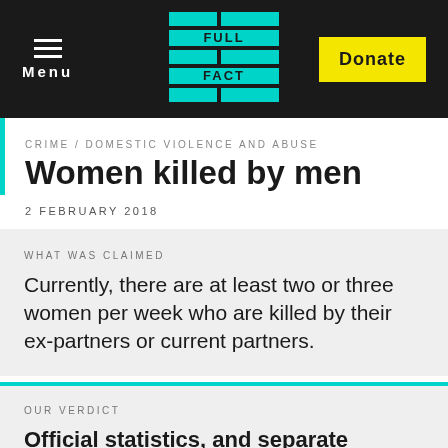Menu | FULL FACT | Donate
CRIME / DOMESTIC VIOLENCE AND ABUSE
Women killed by men
2 FEBRUARY 2018
WHAT WAS CLAIMED
Currently, there are at least two or three women per week who are killed by their ex-partners or current partners.
OUR VERDICT
Official statistics, and separate figures from Women's Aid, show around 80